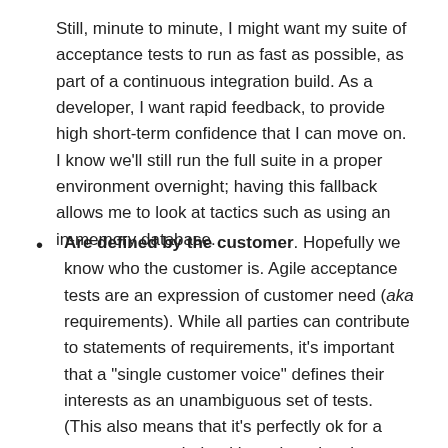Still, minute to minute, I might want my suite of acceptance tests to run as fast as possible, as part of a continuous integration build. As a developer, I want rapid feedback, to provide high short-term confidence that I can move on. I know we'll still run the full suite in a proper environment overnight; having this fallback allows me to look at tactics such as using an in-memory database.
Are defined by the customer. Hopefully we know who the customer is. Agile acceptance tests are an expression of customer need (aka requirements). While all parties can contribute to statements of requirements, it's important that a "single customer voice" defines their interests as an unambiguous set of tests. (This also means that it's perfectly ok for a programmer to help with testing--they just can't be the one defining the tests.)